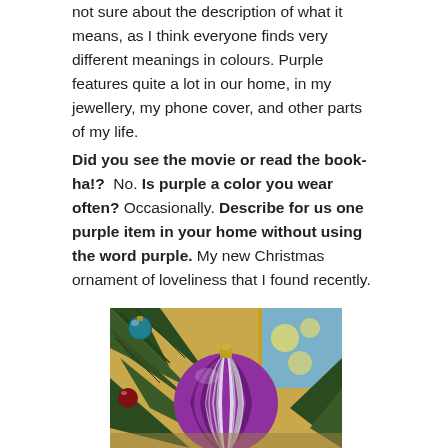not sure about the description of what it means, as I think everyone finds very different meanings in colours. Purple features quite a lot in our home, in my jewellery, my phone cover, and other parts of my life.
Did you see the movie or read the book-ha!? No. Is purple a color you wear often? Occasionally. Describe for us one purple item in your home without using the word purple. My new Christmas ornament of loveliness that I found recently.
[Figure (photo): A purple and silver striped Christmas ornament hanging on a Christmas tree, with green pine branches and a floral artwork visible in the background.]